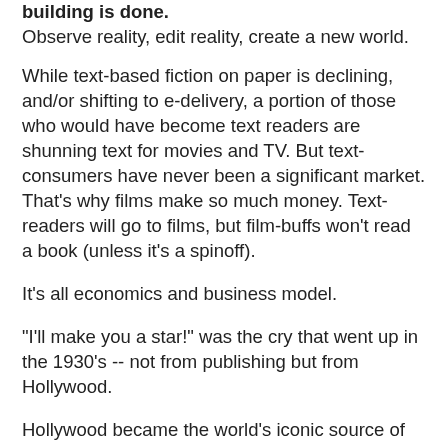building is done.
Observe reality, edit reality, create a new world.
While text-based fiction on paper is declining, and/or shifting to e-delivery, a portion of those who would have become text readers are shunning text for movies and TV. But text-consumers have never been a significant market. That's why films make so much money. Text-readers will go to films, but film-buffs won't read a book (unless it's a spinoff).
It's all economics and business model.
"I'll make you a star!" was the cry that went up in the 1930's -- not from publishing but from Hollywood.
Hollywood became the world's iconic source of video entertainment.
But the USA is a tiny market compared to the world. So by the 1970's, no Hollywood studio could make a profit without a strong after-market in other countries. By the 1980's or so, Hollywood products also needed a strong VHS sell-through,